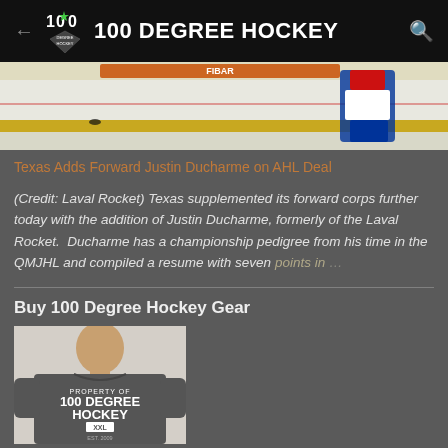100 DEGREE HOCKEY
[Figure (photo): Hockey player on ice rink wearing red, white and blue Montreal Canadiens/Laval Rocket jersey]
Texas Adds Forward Justin Ducharme on AHL Deal
(Credit: Laval Rocket) Texas supplemented its forward corps further today with the addition of Justin Ducharme, formerly of the Laval Rocket.  Ducharme has a championship pedigree from his time in the QMJHL and compiled a resume with seven points in …
Buy 100 Degree Hockey Gear
[Figure (photo): Man wearing a grey 100 Degree Hockey t-shirt that reads PROPERTY OF 100 DEGREE HOCKEY XXL EST. 2009]